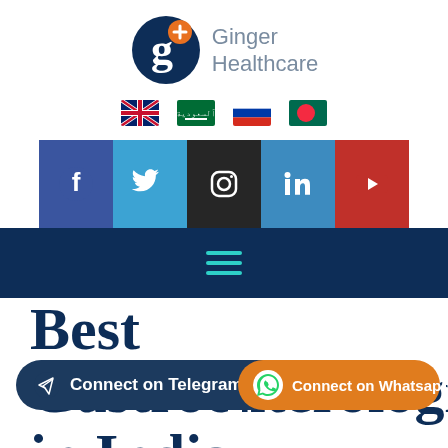[Figure (logo): Ginger Healthcare logo: dark navy circle with stylized 'g' and orange cross/plus icon, with text 'Ginger Healthcare' in grey to the right]
[Figure (infographic): Four country flag icons in a row: UK flag, Saudi Arabia flag, Russia flag, Bangladesh flag]
[Figure (infographic): Social media icon bar with five colored tiles: Facebook (blue), Twitter (light blue), Instagram (dark/black), LinkedIn (blue), YouTube (red)]
[Figure (infographic): Dark navy navigation bar with teal hamburger menu icon (three horizontal lines)]
Best Gastroenterologists in India
[Figure (infographic): Dark navy 'Connect on Telegram!' button with paper plane icon on the left]
[Figure (infographic): Orange 'Connect on Whatsapp!' button with WhatsApp phone icon on the left]